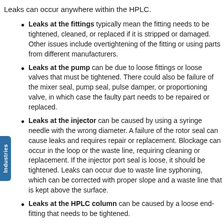Leaks can occur anywhere within the HPLC.
Leaks at the fittings typically mean the fitting needs to be tightened, cleaned, or replaced if it is stripped or damaged. Other issues include overtightening of the fitting or using parts from different manufacturers.
Leaks at the pump can be due to loose fittings or loose valves that must be tightened. There could also be failure of the mixer seal, pump seal, pulse damper, or proportioning valve, in which case the faulty part needs to be repaired or replaced.
Leaks at the injector can be caused by using a syringe needle with the wrong diameter. A failure of the rotor seal can cause leaks and requires repair or replacement. Blockage can occur in the loop or the waste line, requiring cleaning or replacement. If the injector port seal is loose, it should be tightened. Leaks can occur due to waste line syphoning, which can be corrected with proper slope and a waste line that is kept above the surface.
Leaks at the HPLC column can be caused by a loose end-fitting that needs to be tightened.
Leaks in the detector can be caused by fittings that